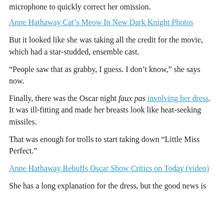microphone to quickly correct her omission.
Anne Hathaway Cat's Meow In New Dark Knight Photos
But it looked like she was taking all the credit for the movie, which had a star-studded, ensemble cast.
“People saw that as grabby, I guess. I don’t know,” she says now.
Finally, there was the Oscar night faux pas involving her dress. It was ill-fitting and made her breasts look like heat-seeking missiles.
That was enough for trolls to start taking down “Little Miss Perfect.”
Anne Hathaway Rebuffs Oscar Show Critics on Today (video)
She has a long explanation for the dress, but the good news is